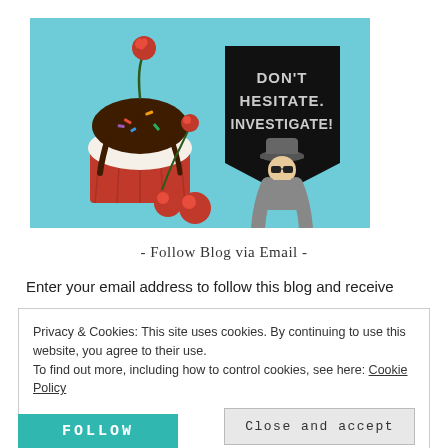[Figure (illustration): A cupcake with chocolate frosting, sprinkles, and a cherry on top, alongside two cherries. On the right side is a black banner with text 'DON'T HESITATE. INVESTIGATE!' and a cartoon spy character wearing a hat and sunglasses.]
- Follow Blog via Email -
Enter your email address to follow this blog and receive
Privacy & Cookies: This site uses cookies. By continuing to use this website, you agree to their use.
To find out more, including how to control cookies, see here: Cookie Policy
Close and accept
FOLLOW